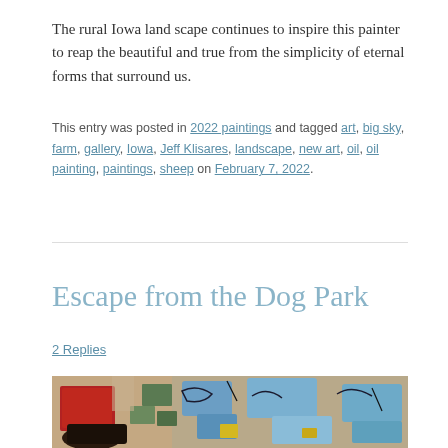The rural Iowa land scape continues to inspire this painter to reap the beautiful and true from the simplicity of eternal forms that surround us.
This entry was posted in 2022 paintings and tagged art, big sky, farm, gallery, Iowa, Jeff Klisares, landscape, new art, oil, oil painting, paintings, sheep on February 7, 2022.
Escape from the Dog Park
2 Replies
[Figure (photo): Colorful abstract oil painting showing dogs in a park with red, blue, green, and earth tone abstract shapes]